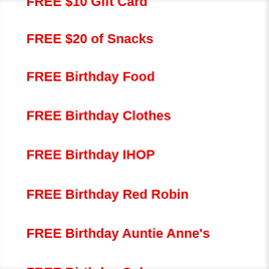FREE $10 Gift Card
FREE $20 of Snacks
FREE Birthday Food
FREE Birthday Clothes
FREE Birthday IHOP
FREE Birthday Red Robin
FREE Birthday Auntie Anne's
FREE Birthday Subway
FREE Birthday Pinkberry
FREE Birthday Ben & Jerry's
FREE Political Stickers
FREE Sample Boxes
FREE Giveaways
FREE PowerBall Lotto Tickets
FREE Stuff at Target
FREE Restaurant Food